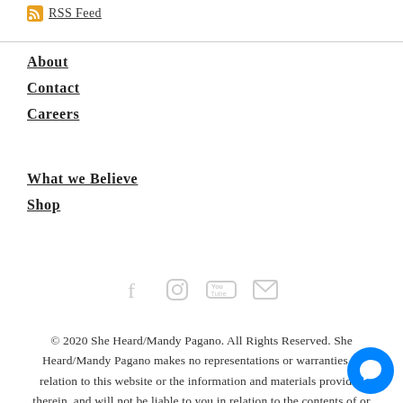RSS Feed
About
Contact
Careers
What we Believe
Shop
[Figure (infographic): Social media icons: Facebook, Instagram, YouTube, Email]
© 2020 She Heard/Mandy Pagano. All Rights Reserved. She Heard/Mandy Pagano makes no representations or warranties in relation to this website or the information and materials provided therein, and will not be liable to you in relation to the contents of or use of this website for indirect, special or consequential loss. Nothing on this website constitutes or is meant to constitute advice of any